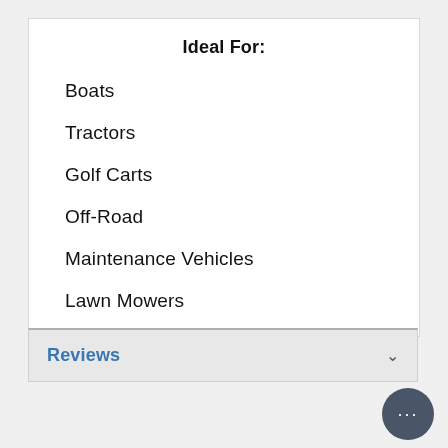Ideal For:
Boats
Tractors
Golf Carts
Off-Road
Maintenance Vehicles
Lawn Mowers
Reviews